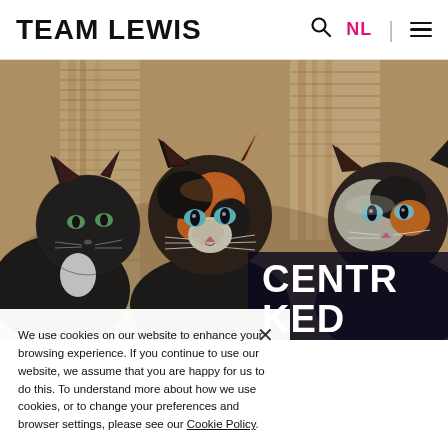TEAM LEWIS
[Figure (photo): Three fluffy kittens clustered together, two dark/black and one calico with orange, black and white markings, looking at the camera. Background shows a rope cat tree post and warm wooden tones.]
CENTR KED
We use cookies on our website to enhance your browsing experience. If you continue to use our website, we assume that you are happy for us to do this. To understand more about how we use cookies, or to change your preferences and browser settings, please see our Cookie Policy.